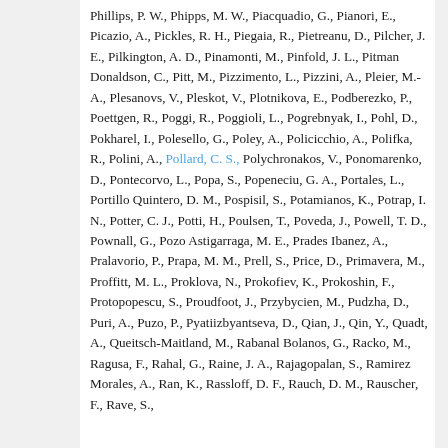Phillips, P. W., Phipps, M. W., Piacquadio, G., Pianori, E., Picazio, A., Pickles, R. H., Piegaia, R., Pietreanu, D., Pilcher, J. E., Pilkington, A. D., Pinamonti, M., Pinfold, J. L., Pitman Donaldson, C., Pitt, M., Pizzimento, L., Pizzini, A., Pleier, M.-A., Plesanovs, V., Pleskot, V., Plotnikova, E., Podberezko, P., Poettgen, R., Poggi, R., Poggioli, L., Pogrebnyak, I., Pohl, D., Pokharel, I., Polesello, G., Poley, A., Policicchio, A., Polifka, R., Polini, A., Pollard, C. S., Polychronakos, V., Ponomarenko, D., Pontecorvo, L., Popa, S., Popeneciu, G. A., Portales, L., Portillo Quintero, D. M., Pospisil, S., Potamianos, K., Potrap, I. N., Potter, C. J., Potti, H., Poulsen, T., Poveda, J., Powell, T. D., Pownall, G., Pozo Astigarraga, M. E., Prades Ibanez, A., Pralavorio, P., Prapa, M. M., Prell, S., Price, D., Primavera, M., Proffitt, M. L., Proklova, N., Prokofiev, K., Prokoshin, F., Protopopescu, S., Proudfoot, J., Przybycien, M., Pudzha, D., Puri, A., Puzo, P., Pyatiizbyantseva, D., Qian, J., Qin, Y., Quadt, A., Queitsch-Maitland, M., Rabanal Bolanos, G., Racko, M., Ragusa, F., Rahal, G., Raine, J. A., Rajagopalan, S., Ramirez Morales, A., Ran, K., Rassloff, D. F., Rauch, D. M., Rauscher, F., Rave, S.,